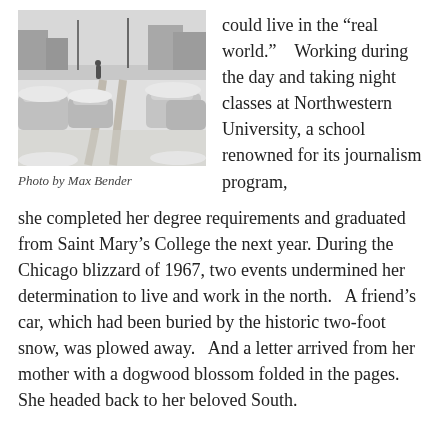[Figure (photo): A black and white photograph of a snow-covered urban street after a blizzard, with cars buried in snow on both sides of the road and tracks in the snow.]
Photo by Max Bender
could live in the “real world.”  Working during the day and taking night classes at Northwestern University, a school renowned for its journalism program, she completed her degree requirements and graduated from Saint Mary’s College the next year.  During the Chicago blizzard of 1967, two events undermined her determination to live and work in the north.  A friend’s car, which had been buried by the historic two-foot snow, was plowed away.  And a letter arrived from her mother with a dogwood blossom folded in the pages.  She headed back to her beloved South.